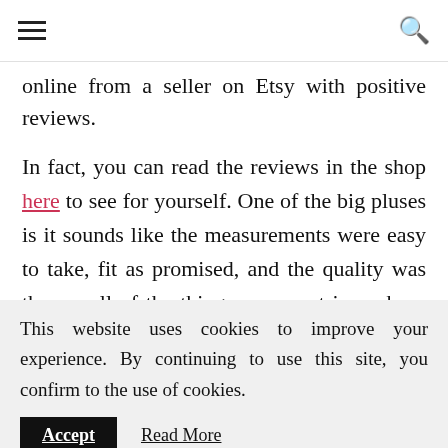[hamburger menu] [search icon]
online from a seller on Etsy with positive reviews.
In fact, you can read the reviews in the shop here to see for yourself. One of the big pluses is it sounds like the measurements were easy to take, fit as promised, and the quality was there... all of the things you want in such an important online
This website uses cookies to improve your experience. By continuing to use this site, you confirm to the use of cookies.
Accept   Read More